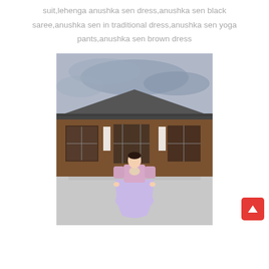suit,lehenga anushka sen dress,anushka sen black saree,anushka sen in traditional dress,anushka sen yoga pants,anushka sen brown dress
[Figure (photo): A woman wearing a lavender/purple traditional Korean hanbok dress standing in front of a traditional Korean wooden building with a tiled roof, stone steps, and an overcast sky. A red back-to-top button is visible in the bottom right corner.]